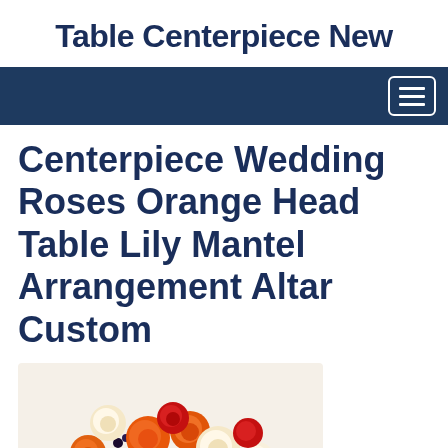Table Centerpiece New
Centerpiece Wedding Roses Orange Head Table Lily Mantel Arrangement Altar Custom
[Figure (photo): A floral centerpiece arrangement featuring orange roses, cream/white roses, red flowers, and green foliage in a lush bouquet.]